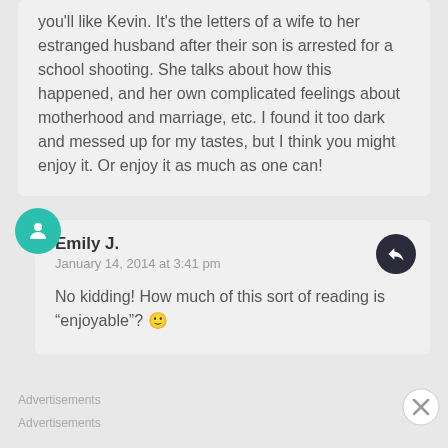you'll like Kevin. It's the letters of a wife to her estranged husband after their son is arrested for a school shooting. She talks about how this happened, and her own complicated feelings about motherhood and marriage, etc. I found it too dark and messed up for my tastes, but I think you might enjoy it. Or enjoy it as much as one can!
Emily J.
January 14, 2014 at 3:41 pm
No kidding! How much of this sort of reading is “enjoyable”? 🙂
Advertisements
Advertisements